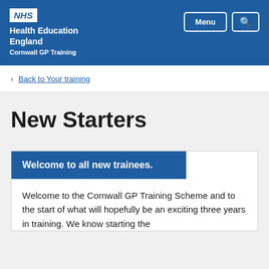NHS Health Education England Cornwall GP Training
< Back to Your training
New Starters
Welcome to all new trainees.
Welcome to the Cornwall GP Training Scheme and to the start of what will hopefully be an exciting three years in training. We know starting the